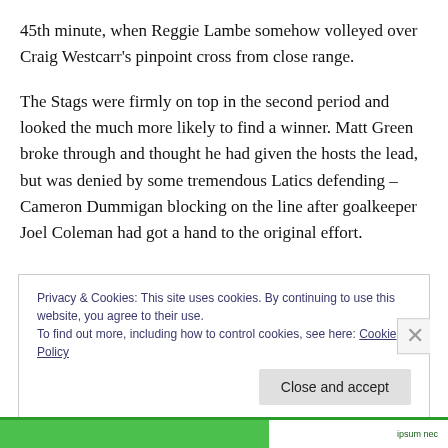45th minute, when Reggie Lambe somehow volleyed over Craig Westcarr's pinpoint cross from close range.
The Stags were firmly on top in the second period and looked the much more likely to find a winner. Matt Green broke through and thought he had given the hosts the lead, but was denied by some tremendous Latics defending – Cameron Dummigan blocking on the line after goalkeeper Joel Coleman had got a hand to the original effort.
Privacy & Cookies: This site uses cookies. By continuing to use this website, you agree to their use.
To find out more, including how to control cookies, see here: Cookie Policy